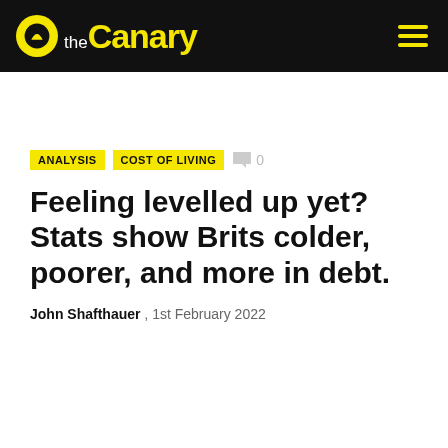theCanary
ANALYSIS  COST OF LIVING  0
Feeling levelled up yet? Stats show Brits colder, poorer, and more in debt.
John Shafthauer , 1st February 2022